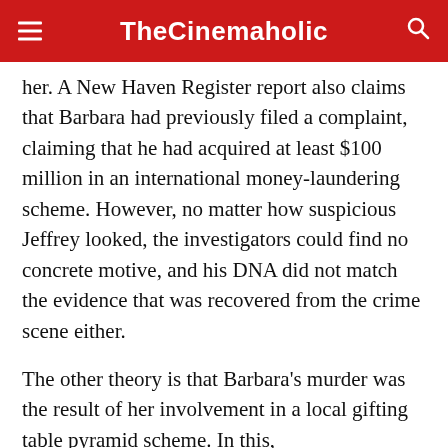TheCinemaholic
her. A New Haven Register report also claims that Barbara had previously filed a complaint, claiming that he had acquired at least $100 million in an international money-laundering scheme. However, no matter how suspicious Jeffrey looked, the investigators could find no concrete motive, and his DNA did not match the evidence that was recovered from the crime scene either.
The other theory is that Barbara’s murder was the result of her involvement in a local gifting table pyramid scheme. In this,